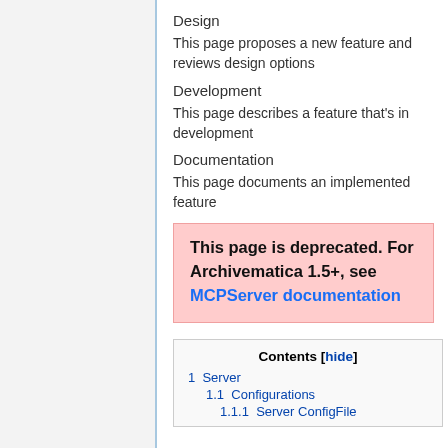Design
This page proposes a new feature and reviews design options
Development
This page describes a feature that's in development
Documentation
This page documents an implemented feature
This page is deprecated. For Archivematica 1.5+, see MCPServer documentation
| Contents [hide] |
| --- |
| 1  Server |
| 1.1  Configurations |
| 1.1.1  Server ConfigFile |